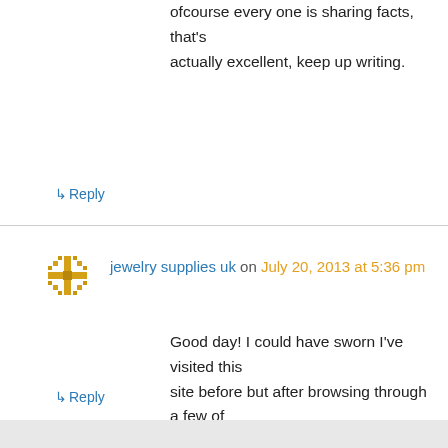What's up, the whole thing is going well here and ofcourse every one is sharing facts, that's actually excellent, keep up writing.
↳ Reply
jewelry supplies uk on July 20, 2013 at 5:36 pm
Good day! I could have sworn I've visited this site before but after browsing through a few of the posts I realized it's new to me. Regardless, I'm definitely happy I stumbled upon it and I'll be bookmarking it and checking back frequently!
↳ Reply